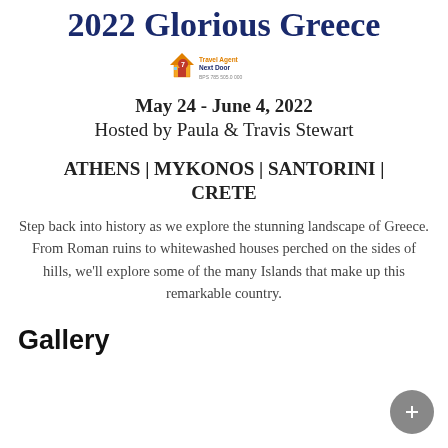2022 Glorious Greece
[Figure (logo): Travel Agent Next Door logo with house icon and phone number]
May 24 - June 4, 2022
Hosted by Paula & Travis Stewart
ATHENS | MYKONOS | SANTORINI | CRETE
Step back into history as we explore the stunning landscape of Greece. From Roman ruins to whitewashed houses perched on the sides of hills, we'll explore some of the many Islands that make up this remarkable country.
Gallery